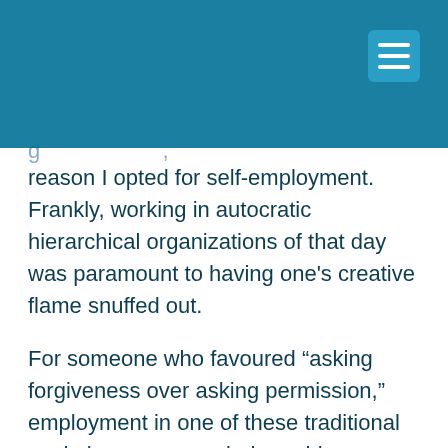reason I opted for self-employment.  Frankly, working in autocratic hierarchical organizations of that day was paramount to having one's creative flame snuffed out.
For someone who favoured “asking forgiveness over asking permission,” employment in one of these traditional workplaces was a mind-numbing tragedy and where I formally decided, “never again.”